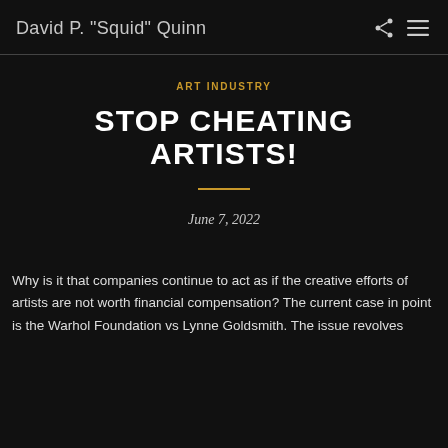David P. "Squid" Quinn
ART INDUSTRY
STOP CHEATING ARTISTS!
June 7, 2022
Why is it that companies continue to act as if the creative efforts of artists are not worth financial compensation? The current case in point is the Warhol Foundation vs Lynne Goldsmith. The issue revolves